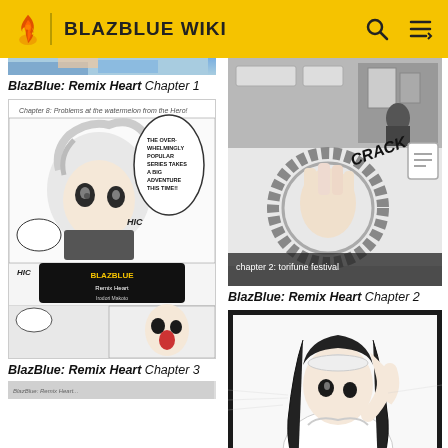BLAZBLUE WIKI
BlazBlue: Remix Heart Chapter 1
[Figure (illustration): Manga page thumbnail for BlazBlue: Remix Heart Chapter 3, showing anime-style characters with speech bubbles and title logo]
BlazBlue: Remix Heart Chapter 3
[Figure (illustration): Manga page thumbnail for BlazBlue: Remix Heart Chapter 2, showing a hand with chain and 'CRACK' text, chapter 2: torifune festival label]
BlazBlue: Remix Heart Chapter 2
[Figure (illustration): Manga page thumbnail for BlazBlue: Remix Heart Chapter 4, showing a dark-haired anime female character in white outfit]